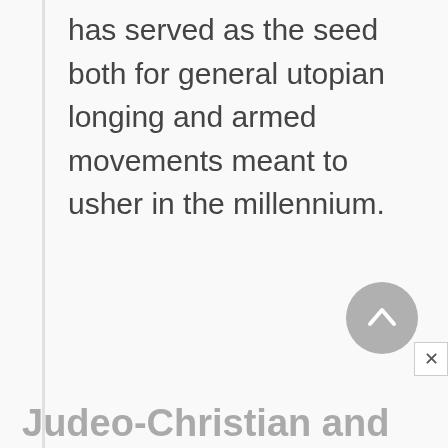has served as the seed both for general utopian longing and armed movements meant to usher in the millennium.
Judeo-Christian and